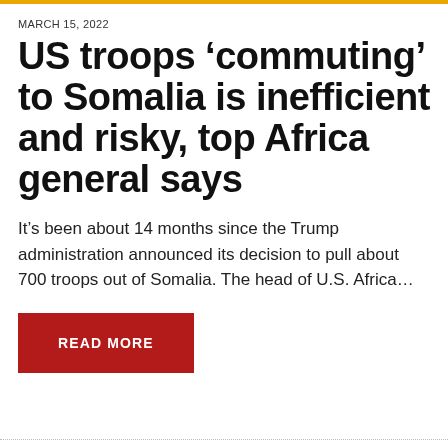MARCH 15, 2022
US troops ‘commuting’ to Somalia is inefficient and risky, top Africa general says
It’s been about 14 months since the Trump administration announced its decision to pull about 700 troops out of Somalia. The head of U.S. Africa…
READ MORE